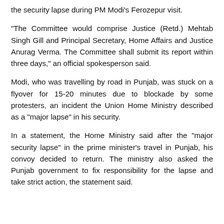the security lapse during PM Modi's Ferozepur visit.
“The Committee would comprise Justice (Retd.) Mehtab Singh Gill and Principal Secretary, Home Affairs and Justice Anurag Verma. The Committee shall submit its report within three days,” an official spokesperson said.
Modi, who was travelling by road in Punjab, was stuck on a flyover for 15-20 minutes due to blockade by some protesters, an incident the Union Home Ministry described as a “major lapse” in his security.
In a statement, the Home Ministry said after the “major security lapse” in the prime minister’s travel in Punjab, his convoy decided to return. The ministry also asked the Punjab government to fix responsibility for the lapse and take strict action, the statement said.